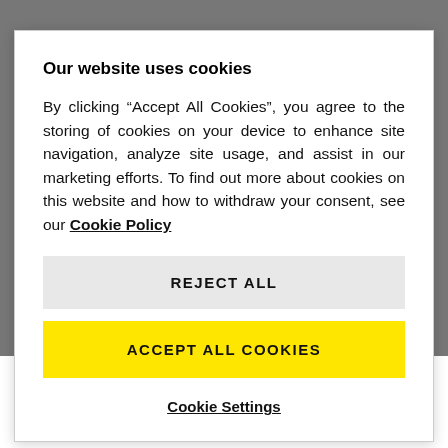[Figure (screenshot): Background showing partial Kärcher product image obscured by cookie consent modal]
Our website uses cookies
By clicking “Accept All Cookies”, you agree to the storing of cookies on your device to enhance site navigation, analyze site usage, and assist in our marketing efforts. To find out more about cookies on this website and how to withdraw your consent, see our Cookie Policy
REJECT ALL
ACCEPT ALL COOKIES
Cookie Settings
EASY!Lock quick-release couplings.
Effortless operation at last: the EASY!Force high-pressure gun EASY!Lock quick-release couplings: durable and robust. And five times faster than screws.